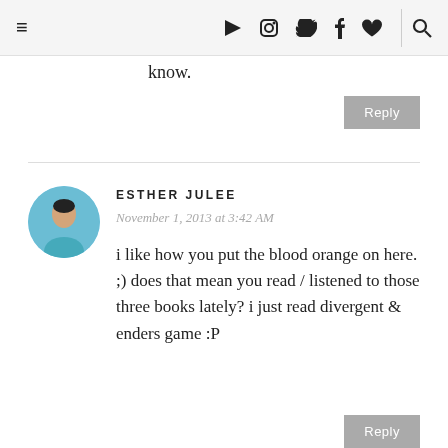≡ ▶ [instagram] [twitter] f ♥ | 🔍
know.
Reply
ESTHER JULEE
November 1, 2013 at 3:42 AM
i like how you put the blood orange on here. ;) does that mean you read / listened to those three books lately? i just read divergent & enders game :P
Reply